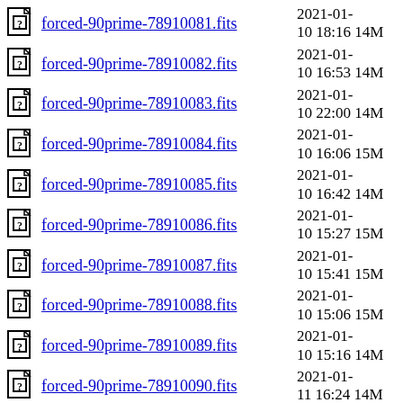forced-90prime-78910081.fits  2021-01-10 18:16  14M
forced-90prime-78910082.fits  2021-01-10 16:53  14M
forced-90prime-78910083.fits  2021-01-10 22:00  14M
forced-90prime-78910084.fits  2021-01-10 16:06  15M
forced-90prime-78910085.fits  2021-01-10 16:42  14M
forced-90prime-78910086.fits  2021-01-10 15:27  15M
forced-90prime-78910087.fits  2021-01-10 15:41  15M
forced-90prime-78910088.fits  2021-01-10 15:06  15M
forced-90prime-78910089.fits  2021-01-10 15:16  14M
forced-90prime-78910090.fits  2021-01-11 16:24  14M
forced-90prime-78910091.fits  2021-01-10 14:48  14M
forced-90prime-78910092.fits  2021-01-...